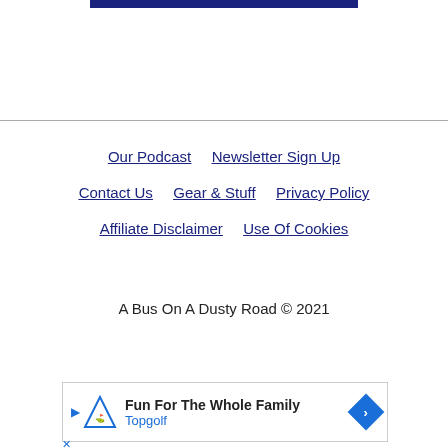[Figure (other): Dark navy blue horizontal bar at top of page]
Our Podcast   Newsletter Sign Up   Contact Us   Gear & Stuff   Privacy Policy   Affiliate Disclaimer   Use Of Cookies
A Bus On A Dusty Road © 2021
[Figure (other): Advertisement banner: Fun For The Whole Family - Topgolf]